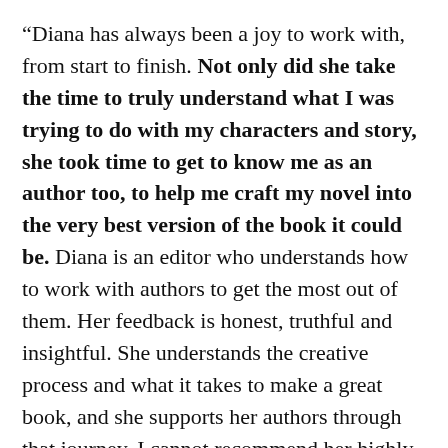“Diana has always been a joy to work with, from start to finish. Not only did she take the time to truly understand what I was trying to do with my characters and story, she took time to get to know me as an author too, to help me craft my novel into the very best version of the book it could be. Diana is an editor who understands how to work with authors to get the most out of them. Her feedback is honest, truthful and insightful. She understands the creative process and what it takes to make a great book, and she supports her authors through that journey. I cannot recommend her highly enough.” — George Mann, author of Doctor Who’s Paradox Lost and Engines of War, and the Newbury &